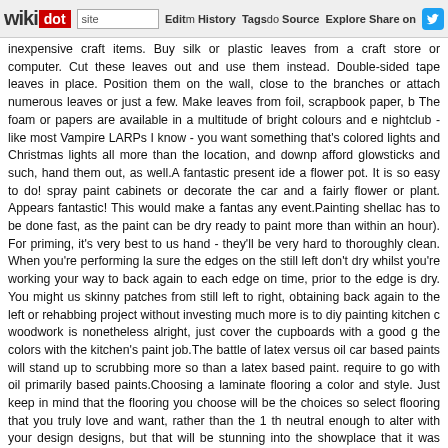wikidot | site | Edit | History | Tags | Source | Explore | Share on
inexpensive craft items. Buy silk or plastic leaves from a craft store or computer. Cut these leaves out and use them instead. Double-sided tape leaves in place. Position them on the wall, close to the branches or attach numerous leaves or just a few. Make leaves from foil, scrapbook paper, b The foam or papers are available in a multitude of bright colours and e nightclub - like most Vampire LARPs I know - you want something that's colored lights and Christmas lights all more than the location, and downp afford glowsticks and such, hand them out, as well.A fantastic present ide a flower pot. It is so easy to do! spray paint cabinets or decorate the car and a fairly flower or plant. Appears fantastic! This would make a fantas any event.Painting shellac has to be done fast, as the paint can be dry ready to paint more than within an hour). For priming, it's very best to us hand - they'll be very hard to thoroughly clean. When you're performing la sure the edges on the still left don't dry whilst you're working your way to back again to each edge on time, prior to the edge is dry. You might us skinny patches from still left to right, obtaining back again to the left or rehabbing project without investing much more is to diy painting kitchen c woodwork is nonetheless alright, just cover the cupboards with a good g the colors with the kitchen's paint job.The battle of latex versus oil car based paints will stand up to scrubbing more so than a latex based paint. require to go with oil primarily based paints.Choosing a laminate flooring a color and style. Just keep in mind that the flooring you choose will be the choices so select flooring that you truly love and want, rather than the 1 th neutral enough to alter with your design designs, but that will be stunning into the showplace that it was intended to be. - Comments: 0
How To Colours Your Kitchen Cabinet - 10 Februa